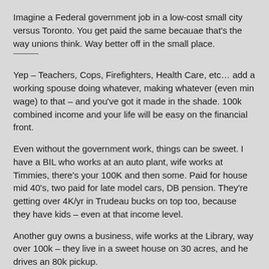Imagine a Federal government job in a low-cost small city versus Toronto. You get paid the same becauae that's the way unions think. Way better off in the small place.
Yep – Teachers, Cops, Firefighters, Health Care, etc… add a working spouse doing whatever, making whatever (even min wage) to that – and you've got it made in the shade. 100k combined income and your life will be easy on the financial front.
Even without the government work, things can be sweet. I have a BIL who works at an auto plant, wife works at Timmies, there's your 100K and then some. Paid for house mid 40's, two paid for late model cars, DB pension. They're getting over 4K/yr in Trudeau bucks on top too, because they have kids – even at that income level.
Another guy owns a business, wife works at the Library, way over 100k – they live in a sweet house on 30 acres, and he drives an 80k pickup.
More: if you're handy and can make/save $ outside of your regular job, you're golden too – even if you don't have a 6 figure family income. Keeping costs down is huge, and under Trudeau; having a low income and a few kids means you're getting 20-30 grand per year in returned tax